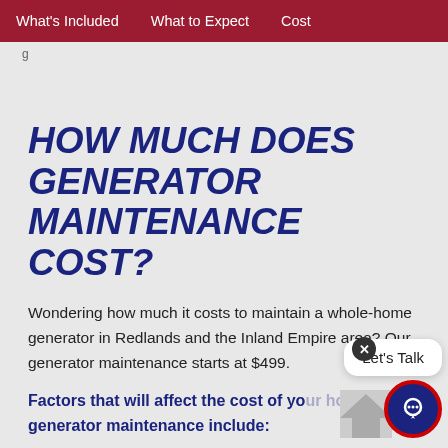What's Included   What to Expect   Cost
HOW MUCH DOES GENERATOR MAINTENANCE COST?
Wondering how much it costs to maintain a whole-home generator in Redlands and the Inland Empire area? Our generator maintenance starts at $499.
Factors that will affect the cost of your home generator maintenance include: